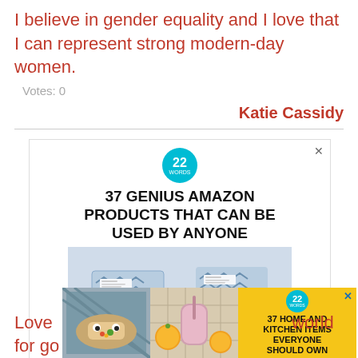I believe in gender equality and I love that I can represent strong modern-day women.
Votes: 0
Katie Cassidy
[Figure (infographic): Advertisement banner for '37 Genius Amazon Products That Can Be Used By Anyone' from 22Words, showing packaged products with geometric pattern. Includes a close button.]
[Figure (infographic): Second advertisement banner for '37 Home and Kitchen Items Everyone Should Own' from 22Words, with yellow background, showing food and kitchen product images.]
Love ...world for go...